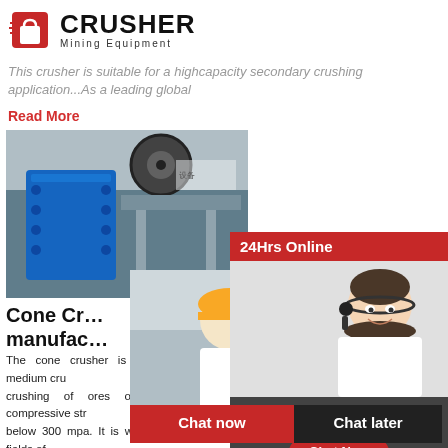[Figure (logo): Crusher Mining Equipment logo with red shopping bag icon and bold CRUSHER text]
This crusher is suitable for a highcapacity secondary crushing application...As a leading global
Read More
[Figure (photo): Blue cone/jaw crusher machine in a factory setting]
Cone Crusher manufacturer
The cone crusher is suitable for the medium crushing of ores or rocks whose compressive str below 300 mpa. It is widely used in the fields of metallurgy, silicate and other industries, and ge engaged in the second and third stage of the cru process in cement plant.According to the differe principle and product particle size, the ...
[Figure (photo): Live Chat overlay with workers in yellow hard hats. Shows LIVE CHAT headline, Click for a Free Consultation text, Chat now and Chat later buttons]
[Figure (photo): Right sidebar with 24Hrs Online banner, female customer service agent with headset, Need questions & suggestion text, Chat Now button, Enquiry section, limingjlmofen@sina.com email]